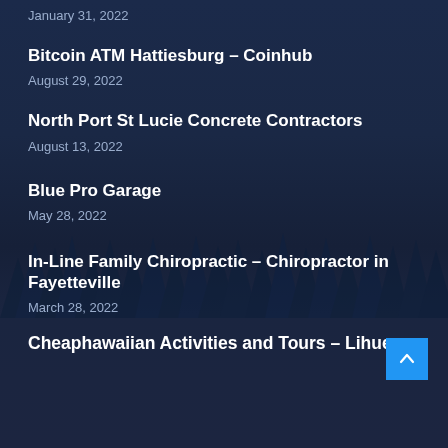January 31, 2022
Bitcoin ATM Hattiesburg – Coinhub
August 29, 2022
North Port St Lucie Concrete Contractors
August 13, 2022
Blue Pro Garage
May 28, 2022
In-Line Family Chiropractic – Chiropractor in Fayetteville
March 28, 2022
Cheaphawaiian Activities and Tours – Lihue